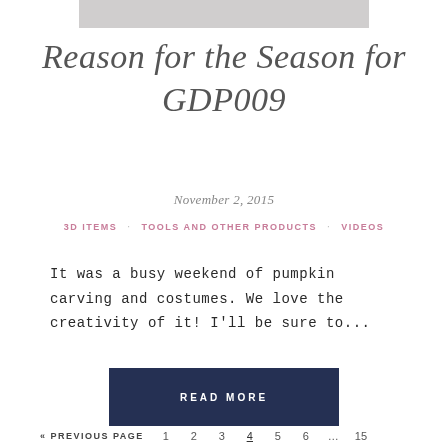[Figure (photo): Gray gradient image strip at top of page]
Reason for the Season for GDP009
November 2, 2015
3D ITEMS · TOOLS AND OTHER PRODUCTS · VIDEOS
It was a busy weekend of pumpkin carving and costumes.  We love the creativity of it!  I'll be sure to...
READ MORE
« PREVIOUS PAGE   1   2   3   4   5   6   …   15